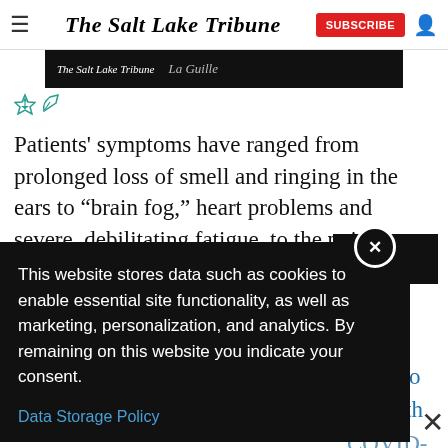The Salt Lake Tribune
[Figure (screenshot): The Salt Lake Tribune website header image strip with logo and italic title 'La Guilde' on dark background]
Patients' symptoms have ranged from prolonged loss of smell and ringing in the ears to “brain fog,” heart problems and severe, debilitating fatigue, to the point
life and
nable to ir health COVID-19
This website stores data such as cookies to enable essential site functionality, as well as marketing, personalization, and analytics. By remaining on this website you indicate your consent.
Data Storage Policy
[Figure (screenshot): Bottom dark strip with italic text 'ille']